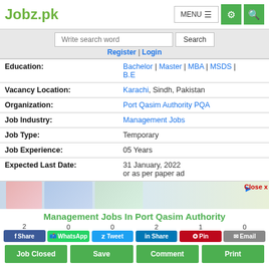Jobz.pk | MENU | [settings] | [search]
Write search word | Search
Register | Login
| Field | Value |
| --- | --- |
| Education: | Bachelor | Master | MBA | MSDS | B.E |
| Vacancy Location: | Karachi, Sindh, Pakistan |
| Organization: | Port Qasim Authority PQA |
| Job Industry: | Management Jobs |
| Job Type: | Temporary |
| Job Experience: | 05 Years |
| Expected Last Date: | 31 January, 2022
or as per paper ad |
[Figure (screenshot): Advertisement banner with trucks image]
Close x
Management Jobs In Port Qasim Authority
Share counts: Facebook 2, WhatsApp 0, Tweet 0, LinkedIn Share 2, Pin 1, Email 0
Share buttons: Share | WhatsApp | Tweet | Share | Pin | Email
Action buttons: Job Closed | Save | Comment | Print